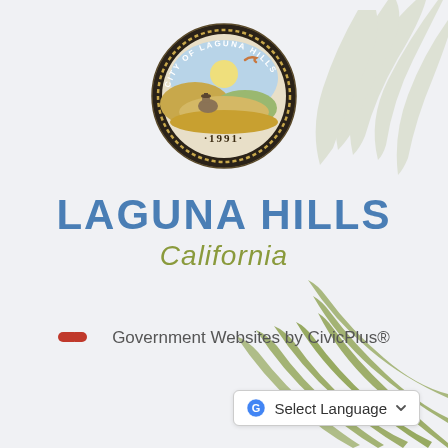[Figure (logo): City of Laguna Hills California official seal, circular, dark border, depicts cowboy on horseback in hills with bird, year 1991 at bottom]
LAGUNA HILLS
California
Government Websites by CivicPlus®
[Figure (illustration): Decorative palm frond illustrations in light gray/green at top-right and bottom-right corners]
Select Language